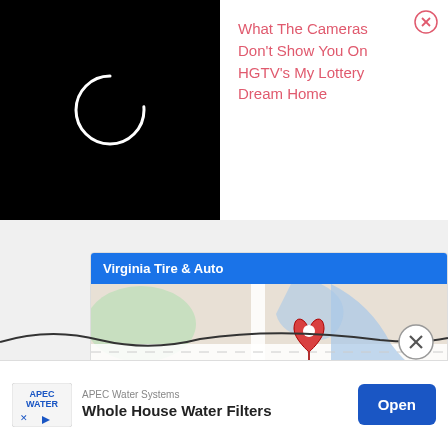[Figure (screenshot): Black video player panel with white loading circle spinner]
What The Cameras Don't Show You On HGTV's My Lottery Dream Home
[Figure (screenshot): Google Maps embed showing Patel Brothers store location with a red pin marker and road map]
Virginia Tire & Auto
Store info
Directions
[Figure (screenshot): Bottom advertisement banner for APEC Water Systems - Whole House Water Filters with Open button]